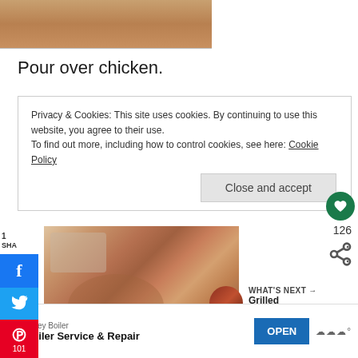[Figure (photo): Partial view of a wooden cutting board or food preparation surface, tan/brown color, cropped at top of page]
Pour over chicken.
Privacy & Cookies: This site uses cookies. By continuing to use this website, you agree to their use.
To find out more, including how to control cookies, see here: Cookie Policy
Close and accept
[Figure (photo): Raw marinated chicken pieces inside a plastic bag on a wooden surface, seasoned with herbs and spices]
WHAT'S NEXT → Grilled Marinated...
Valley Boiler
Boiler Service & Repair
OPEN